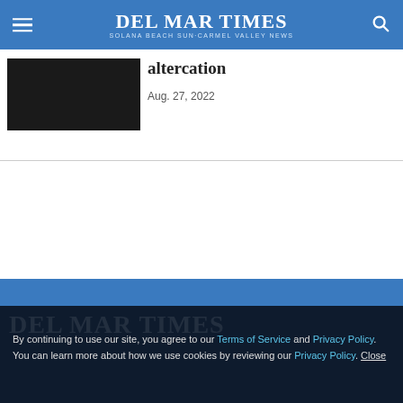Del Mar Times — Solana Beach Sun-Carmel Valley News
altercation
Aug. 27, 2022
By continuing to use our site, you agree to our Terms of Service and Privacy Policy. You can learn more about how we use cookies by reviewing our Privacy Policy. Close